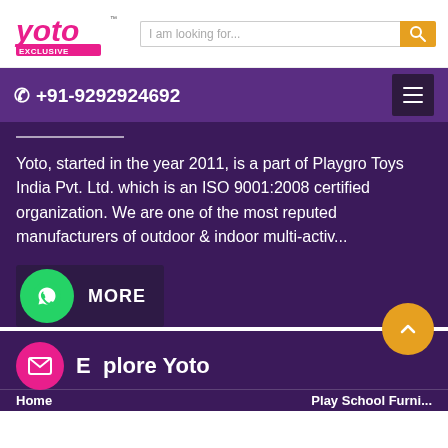[Figure (logo): Yoto Exclusive logo in pink/magenta color]
I am looking for...
+91-9292924692
Yoto, started in the year 2011, is a part of Playgro Toys India Pvt. Ltd. which is an ISO 9001:2008 certified organization. We are one of the most reputed manufacturers of outdoor & indoor multi-activ...
MORE
Explore Yoto
Home   Play School Furni...